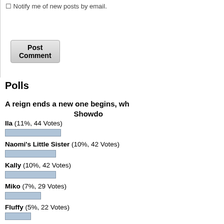Notify me of new posts by email.
Post Comment
Polls
A reign ends a new one begins, wh... Showdo...
Ila (11%, 44 Votes)
Naomi's Little Sister (10%, 42 Votes)
Kally (10%, 42 Votes)
Miko (7%, 29 Votes)
Fluffy (5%, 22 Votes)
The Consul (5%, 21 Votes)
Eliana (4%, 15 Votes)
Mari (3%, 12 Votes)
Mium (3%, 11 Votes)
Camilla (3%, 11 Votes)
Vium (3%, 11 Votes)